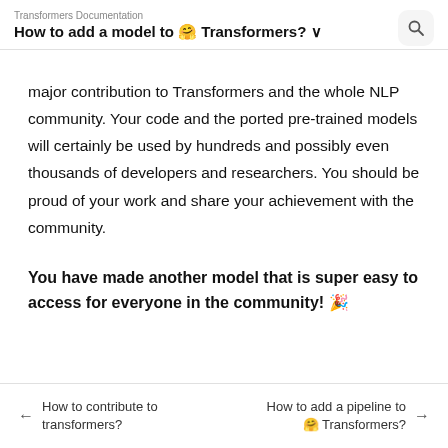Transformers Documentation
How to add a model to 🤗 Transformers? ∨
major contribution to Transformers and the whole NLP community. Your code and the ported pre-trained models will certainly be used by hundreds and possibly even thousands of developers and researchers. You should be proud of your work and share your achievement with the community.
You have made another model that is super easy to access for everyone in the community! 🎉
← How to contribute to transformers?    How to add a pipeline to 🤗 Transformers? →